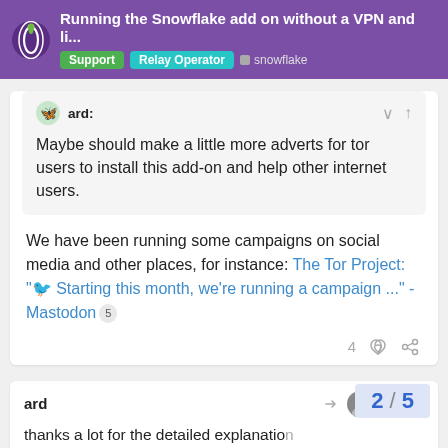Running the Snowflake add on without a VPN and li... | Support | Relay Operator | snowflake
ard: Maybe should make a little more adverts for tor users to install this add-on and help other internet users.
We have been running some campaigns on social media and other places, for instance: The Tor Project: "🐦 Starting this month, we're running a campaign ..." - Mastodon
ard  Nov '21
thanks a lot for the detailed explanation